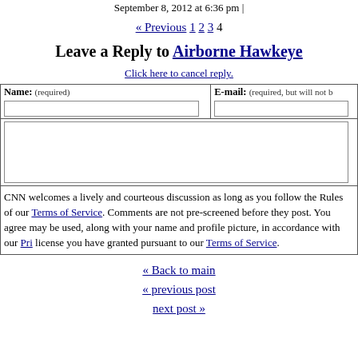September 8, 2012 at 6:36 pm |
« Previous 1 2 3 4
Leave a Reply to Airborne Hawkeye
Click here to cancel reply.
| Name: (required) | E-mail: (required, but will not be shown) |
| --- | --- |
| [input field] | [input field] |
| [comment textarea] |  |
| CNN welcomes a lively and courteous discussion as long as you follow the Rules of Conduct set forth in our Terms of Service. Comments are not pre-screened before they post. You agree that anything you post may be used, along with your name and profile picture, in accordance with our Privacy Policy and the license you have granted pursuant to our Terms of Service. |  |
« Back to main
« previous post
next post »